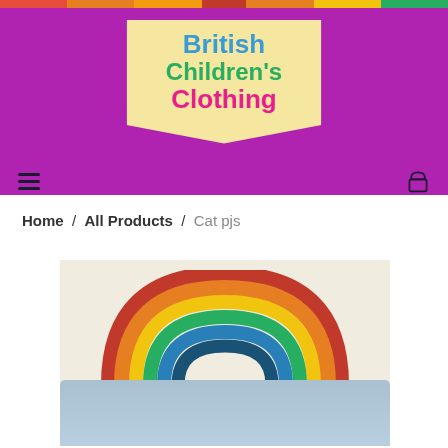British Children's Clothing
Home / All Products / Cat pjs
[Figure (photo): Product photo showing a rainbow wooden stacker toy placed on top of children's grey clothing/pyjamas on a beige background]